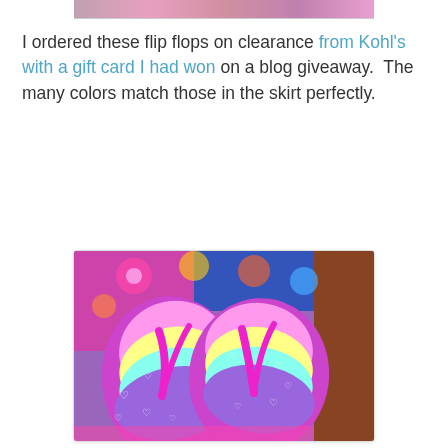[Figure (photo): Partial top image strip showing colorful background, partially cropped at top of page]
I ordered these flip flops on clearance from Kohl's with a gift card I had won on a blog giveaway.  The many colors match those in the skirt perfectly.
[Figure (photo): Photo of rainbow-colored flip flops with heart pattern and pink glitter straps, displayed against a floral fabric background]